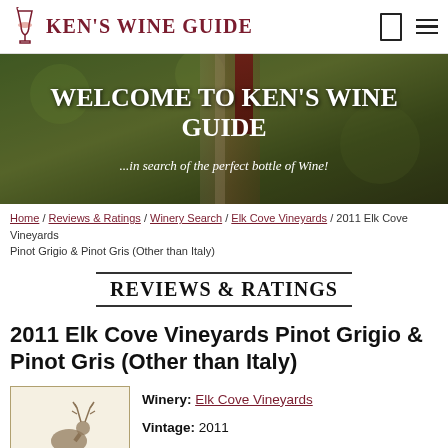KEN'S WINE GUIDE
[Figure (photo): Hero banner image showing a wine glass being poured, with green blurred background. Overlay text: WELCOME TO KEN'S WINE GUIDE ...in search of the perfect bottle of Wine!]
Home / Reviews & Ratings / Winery Search / Elk Cove Vineyards / 2011 Elk Cove Vineyards Pinot Grigio & Pinot Gris (Other than Italy)
REVIEWS & RATINGS
2011 Elk Cove Vineyards Pinot Grigio & Pinot Gris (Other than Italy)
[Figure (illustration): Elk Cove Vineyards wine label showing a stag/elk illustration with text ELK COVE VINEYARDS at the bottom]
Winery: Elk Cove Vineyards
Vintage: 2011
Wine Name/Vineyard: